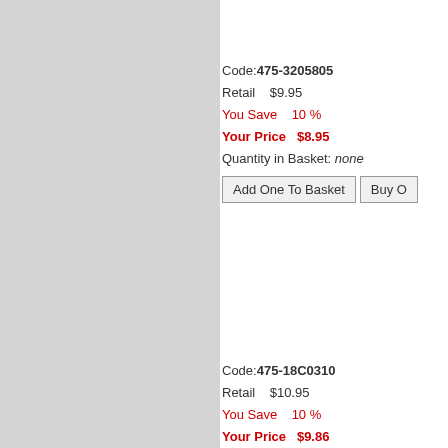Code:475-3205805
Retail   $9.95
You Save   10 %
Your Price  $8.95
Quantity in Basket: none
Code:475-18C0310
Retail   $10.95
You Save   10 %
Your Price  $9.86
Quantity in Basket: none